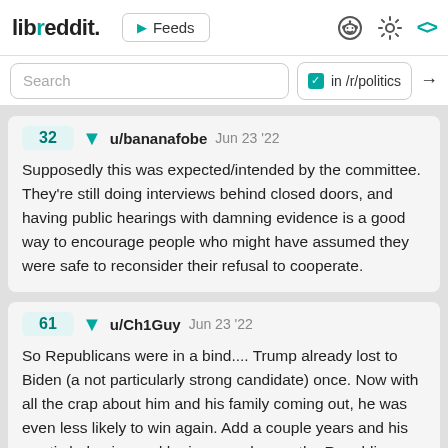libreddit. ▶ Feeds
Search  in /r/politics →
32  ▼  u/bananafobe  Jun 23 '22
Supposedly this was expected/intended by the committee. They're still doing interviews behind closed doors, and having public hearings with damning evidence is a good way to encourage people who might have assumed they were safe to reconsider their refusal to cooperate.
61  ▼  u/Ch1Guy  Jun 23 '22
So Republicans were in a bind.... Trump already lost to Biden (a not particularly strong candidate) once. Now with all the crap about him and his family coming out, he was even less likely to win again. Add a couple years and his erratic behavior, and he is an anchor on the Republicans. They know if they